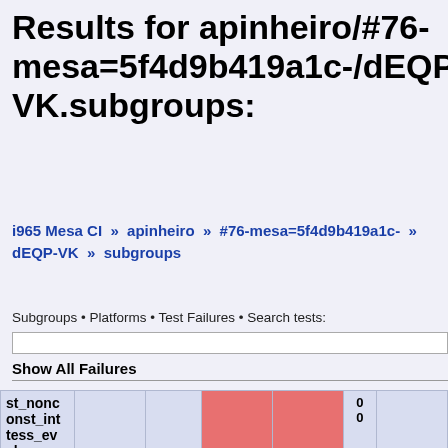Results for apinheiro/#76-mesa=5f4d9b419a1c-/dEQP-VK.subgroups:
i965 Mesa CI » apinheiro » #76-mesa=5f4d9b419a1c- » dEQP-VK » subgroups
Subgroups • Platforms • Test Failures • Search tests:
Show All Failures
| Name |  | m64 | fail | fail | 0.000 | View |
| --- | --- | --- | --- | --- | --- | --- |
| st_nonconst_int tess_eval |  |  | fail | fail | 0
0 |  |
| dEQP-VK.subgroups.ballot_broadcast.framebuffer.subgroup | gen0 | m64 | fail | fail | 0.000 | View |